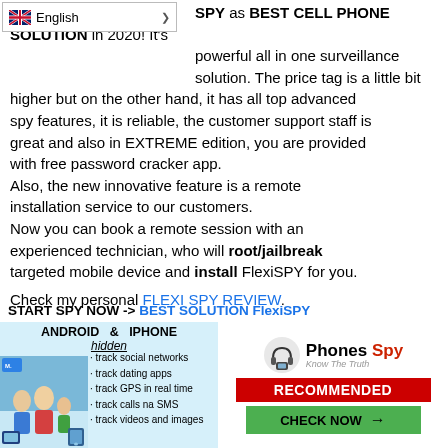[Figure (screenshot): English language selector dropdown with UK flag]
SPY as BEST CELL PHONE SOLUTION in 2020! It's powerful all in one surveillance solution. The price tag is a little bit higher but on the other hand, it has all top advanced spy features, it is reliable, the customer support staff is great and also in EXTREME edition, you are provided with free password cracker app.
Also, the new innovative feature is a remote installation service to our customers.
Now you can book a remote session with an experienced technician, who will root/jailbreak targeted mobile device and install FlexiSPY for you.

Check my personal FLEXI SPY REVIEW.
START SPY NOW -> BEST SOLUTION FlexiSPY
[Figure (infographic): Advertisement banner for FlexiSPY with family photo, text ANDROID & IPHONE hidden, bullet list of features, and Phones Spy logo with RECOMMENDED and CHECK NOW buttons]